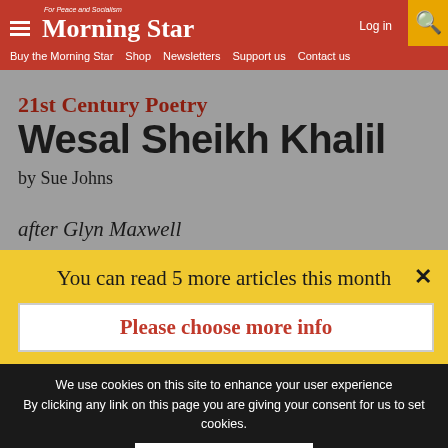Morning Star — For Peace and Socialism | Log in | Buy the Morning Star | Shop | Newsletters | Support us | Contact us
21st Century Poetry
Wesal Sheikh Khalil
by Sue Johns
after Glyn Maxwell
You can read 5 more articles this month
We use cookies on this site to enhance your user experience By clicking any link on this page you are giving your consent for us to set cookies.
No, give me more info